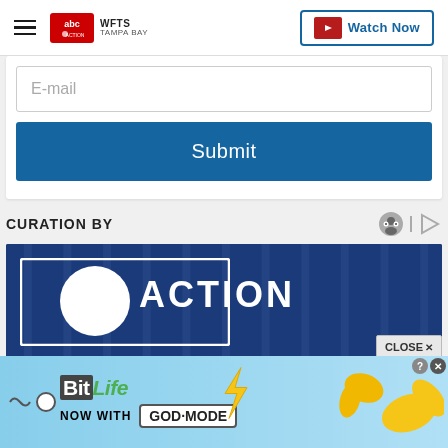WFTS ABC Action News Tampa Bay | Watch Now
E-mail
Submit
CURATION BY
[Figure (screenshot): ABC Action News banner with ACTION text on blue background]
CLOSE
[Figure (illustration): BitLife advertisement banner: BitLife Now With GOD MODE with cartoon hands and lightning bolt on light blue background]